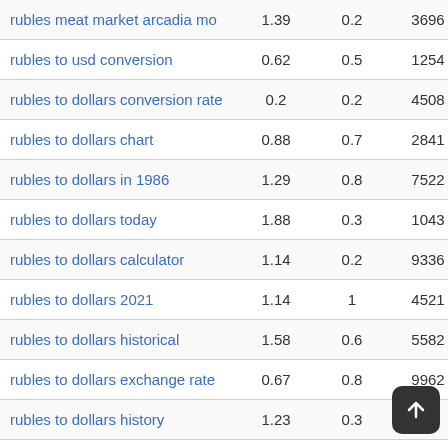| Keyword | Col1 | Col2 | Col3 |  |
| --- | --- | --- | --- | --- |
| rubles meat market arcadia mo | 1.39 | 0.2 | 3696 | green |
| rubles to usd conversion | 0.62 | 0.5 | 1254 | green |
| rubles to dollars conversion rate | 0.2 | 0.2 | 4508 | green |
| rubles to dollars chart | 0.88 | 0.7 | 2841 | green |
| rubles to dollars in 1986 | 1.29 | 0.8 | 7522 | green |
| rubles to dollars today | 1.88 | 0.3 | 1043 | red |
| rubles to dollars calculator | 1.14 | 0.2 | 9336 | green |
| rubles to dollars 2021 | 1.14 | 1 | 4521 | red |
| rubles to dollars historical | 1.58 | 0.6 | 5582 | green |
| rubles to dollars exchange rate | 0.67 | 0.8 | 9962 | green |
| rubles to dollars history | 1.23 | 0.3 | 937 | green |
| convert rubles to dollars | 1.64 | 0.4 | 9977 | red |